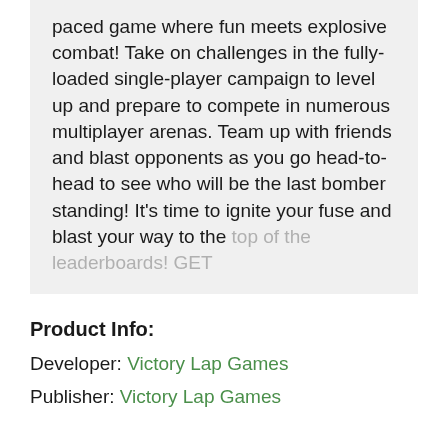paced game where fun meets explosive combat! Take on challenges in the fully-loaded single-player campaign to level up and prepare to compete in numerous multiplayer arenas. Team up with friends and blast opponents as you go head-to-head to see who will be the last bomber standing! It's time to ignite your fuse and blast your way to the top of the leaderboards! GET
Product Info:
Developer: Victory Lap Games
Publisher: Victory Lap Games